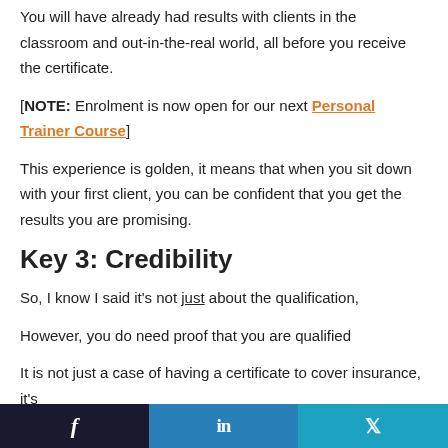You will have already had results with clients in the classroom and out-in-the-real world, all before you receive the certificate.
[NOTE: Enrolment is now open for our next Personal Trainer Course]
This experience is golden, it means that when you sit down with your first client, you can be confident that you get the results you are promising.
Key 3: Credibility
So, I know I said it's not just about the qualification,
However, you do need proof that you are qualified
It is not just a case of having a certificate to cover insurance, it's
Facebook | LinkedIn | Twitter